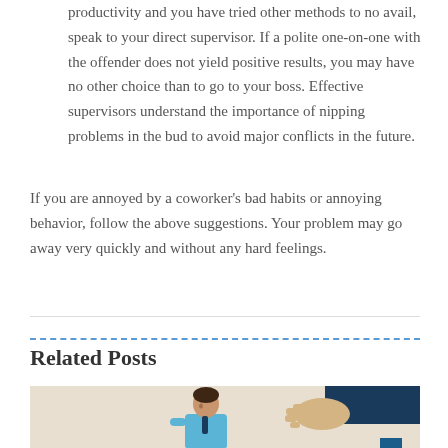productivity and you have tried other methods to no avail, speak to your direct supervisor. If a polite one-on-one with the offender does not yield positive results, you may have no other choice than to go to your boss. Effective supervisors understand the importance of nipping problems in the bud to avoid major conflicts in the future.
If you are annoyed by a coworker's bad habits or annoying behavior, follow the above suggestions. Your problem may go away very quickly and without any hard feelings.
Related Posts
[Figure (illustration): Illustration of a person in business casual attire sitting, with an outstretched hand (handshake gesture) from another person in a dark suit sleeve coming from the right side.]